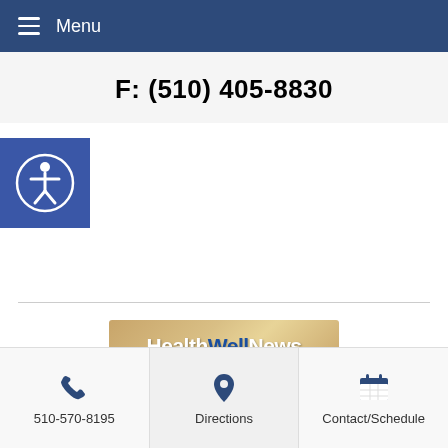Menu
F: (510) 405-8830
[Figure (logo): Accessibility icon: person in circle on blue square background]
[Figure (logo): HealthWellNews banner logo on tan/gold background]
510-570-8195   Directions   Contact/Schedule